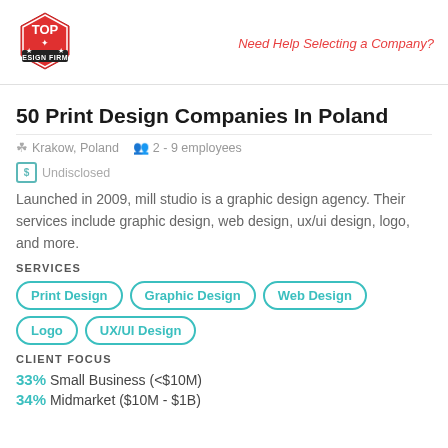Top Design Firms | Need Help Selecting a Company?
50 Print Design Companies In Poland
Krakow, Poland   2 - 9 employees
Undisclosed
Launched in 2009, mill studio is a graphic design agency. Their services include graphic design, web design, ux/ui design, logo, and more.
SERVICES
Print Design
Graphic Design
Web Design
Logo
UX/UI Design
CLIENT FOCUS
33% Small Business (<$10M)
34% Midmarket ($10M - $1B)